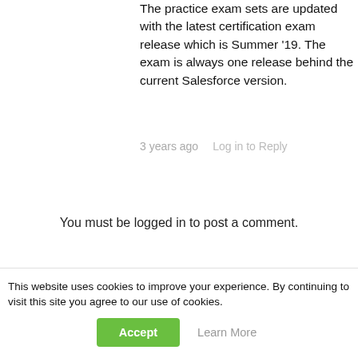The practice exam sets are updated with the latest certification exam release which is Summer '19. The exam is always one release behind the current Salesforce version.
3 years ago   Log in to Reply
You must be logged in to post a comment.
This website uses cookies to improve your experience. By continuing to visit this site you agree to our use of cookies.